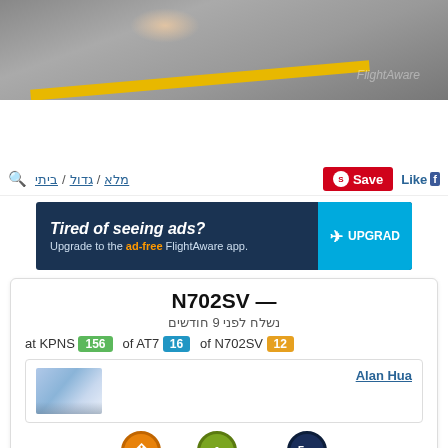[Figure (photo): Airport tarmac surface with yellow line stripe and light reflection, FlightAware watermark]
ביתי / גדול / מלא
Save
Like
[Figure (infographic): Ad banner: Tired of seeing ads? Upgrade to the ad-free FlightAware app. UPGRADE button]
N702SV —
נשלח לפני 9 חודשים
at KPNS 156   of AT7 16   of N702SV 12
[Figure (photo): Small thumbnail of airplane with Delta livery]
Alan Hua
[Figure (infographic): Three badge icons: orange up-arrow badge, green dot badge with 1, navy badge with 5 and sound icon]